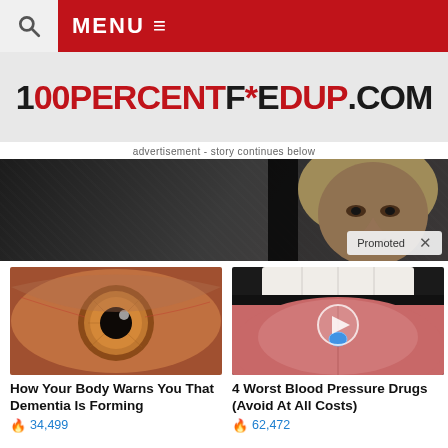MENU ≡
[Figure (logo): 100PERCENTF*EDUP.COM logo in black and red distressed font]
advertisement - story continues below
[Figure (photo): Dark textured advertisement banner with a person's face on the right side. 'Promoted X' badge in bottom right corner.]
[Figure (photo): Close-up of a human eye with brown iris]
How Your Body Warns You That Dementia Is Forming
🔥 34,499
[Figure (photo): Open mouth with tongue out holding a blue pill, with a video play button overlay]
4 Worst Blood Pressure Drugs (Avoid At All Costs)
🔥 62,472